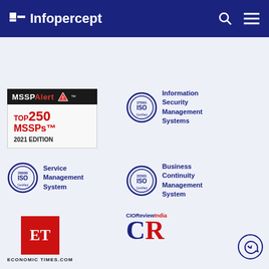Infopercept
[Figure (logo): MSSP Alert Top 250 MSSPs 2021 Edition badge]
[Figure (logo): ISO 27001 Information Security Management Systems certified badge]
[Figure (logo): ISO 20000 Service Management System certified badge]
[Figure (logo): ISO 22301 Business Continuity Management System certified badge]
[Figure (logo): Economic Times logo with ECONOMICTIMES.COM text]
[Figure (logo): CIOReviewIndia CR logo]
[Figure (logo): WhatsApp chat circle icon]